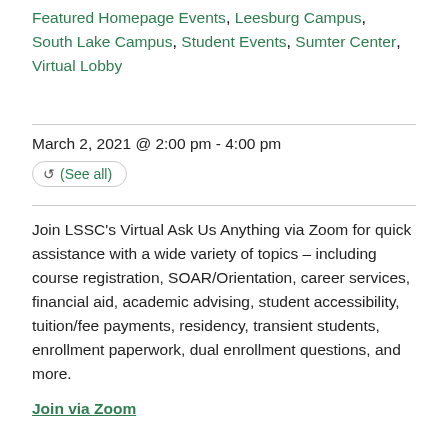Featured Homepage Events, Leesburg Campus, South Lake Campus, Student Events, Sumter Center, Virtual Lobby
March 2, 2021 @ 2:00 pm - 4:00 pm
(See all)
Join LSSC's Virtual Ask Us Anything via Zoom for quick assistance with a wide variety of topics – including course registration, SOAR/Orientation, career services, financial aid, academic advising, student accessibility, tuition/fee payments, residency, transient students, enrollment paperwork, dual enrollment questions, and more.
Join via Zoom